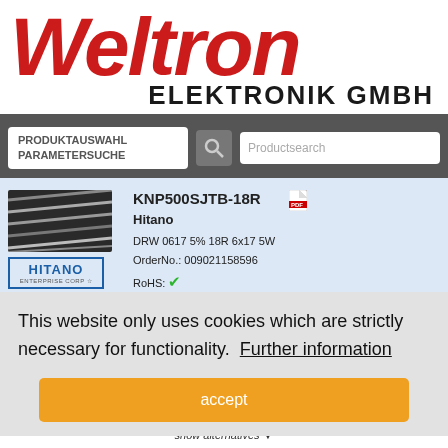[Figure (logo): Weltron Elektronik GmbH logo — red italic bold Weltron text, black ELEKTRONIK GMBH subtitle]
[Figure (screenshot): Navigation bar with PRODUKTAUSWAHL PARAMETERSUCHE button, search icon, and Productsearch field]
show alternatives →
[Figure (photo): Product image of resistors (striped components), Hitano Enterprise Corp brand logo below]
KNP500SJTB-18R
Hitano
DRW 0617 5% 18R 6x17 5W
OrderNo.: 009021158596
RoHS: ✔
Unit Pa
MOQ:
500
1.500
3.000
This website only uses cookies which are strictly necessary for functionality.  Further information
accept
Unit Pa
MOQ:
Sonderp
500 E
St
show alternatives →